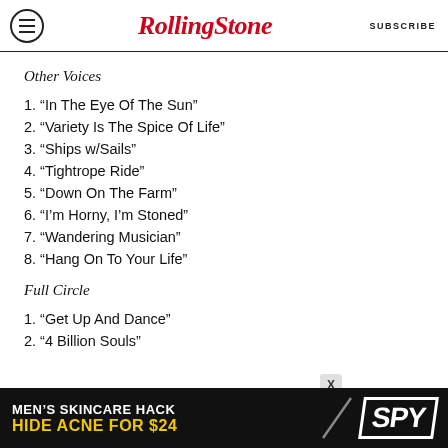RollingStone  SUBSCRIBE
Other Voices
1. “In The Eye Of The Sun”
2. “Variety Is The Spice Of Life”
3. “Ships w/Sails”
4. “Tightrope Ride”
5. “Down On The Farm”
6. “I’m Horny, I’m Stoned”
7. “Wandering Musician”
8. “Hang On To Your Life”
Full Circle
1. “Get Up And Dance”
2. “4 Billion Souls”
[Figure (other): Advertisement banner: MEN'S SKINCARE HACK HIDE ACNE FOR $24 with SPY logo]